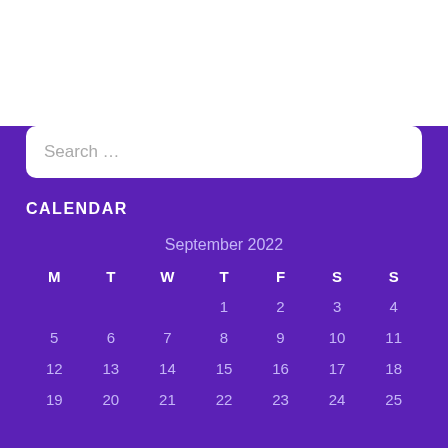[Figure (screenshot): White top area of a webpage]
Search …
CALENDAR
| M | T | W | T | F | S | S |
| --- | --- | --- | --- | --- | --- | --- |
|  |  |  | 1 | 2 | 3 | 4 |
| 5 | 6 | 7 | 8 | 9 | 10 | 11 |
| 12 | 13 | 14 | 15 | 16 | 17 | 18 |
| 19 | 20 | 21 | 22 | 23 | 24 | 25 |